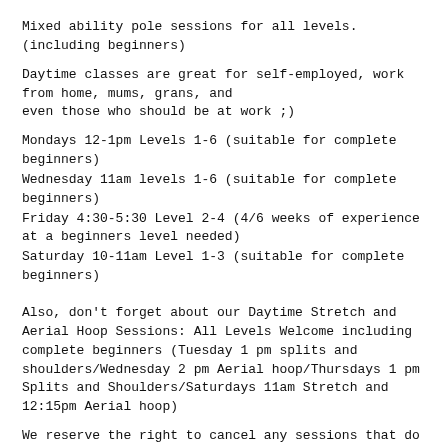Mixed ability pole sessions for all levels.(including beginners)
Daytime classes are great for self-employed, work from home, mums, grans, and even those who should be at work ;)
Mondays 12-1pm Levels 1-6 (suitable for complete beginners)
Wednesday 11am levels 1-6 (suitable for complete beginners)
Friday 4:30-5:30 Level 2-4 (4/6 weeks of experience at a beginners level needed)
Saturday 10-11am Level 1-3 (suitable for complete beginners)
Also, don't forget about our Daytime Stretch and Aerial Hoop Sessions: All Levels Welcome including complete beginners (Tuesday 1 pm splits and shoulders/Wednesday 2 pm Aerial hoop/Thursdays 1 pm Splits and Shoulders/Saturdays 11am Stretch and 12:15pm Aerial hoop)
We reserve the right to cancel any sessions that do not meet the minimum sign up rate (minimum of three people).
Category: FLIGHT class